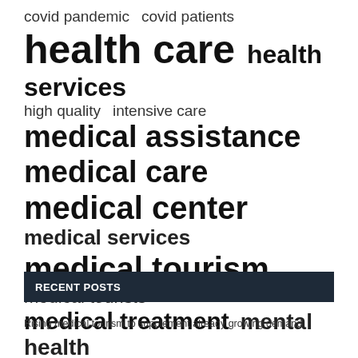[Figure (infographic): Tag cloud / word cloud showing medical and health-related terms in varying font sizes indicating frequency or importance. Terms include: covid pandemic, covid patients, health care, health services, high quality, intensive care, medical assistance, medical care, medical center, medical services, medical tourism, medical tourists, medical treatment, mental health, north america, public health, united states.]
RECENT POSTS
Rising medical tourism to supplement already growing demand